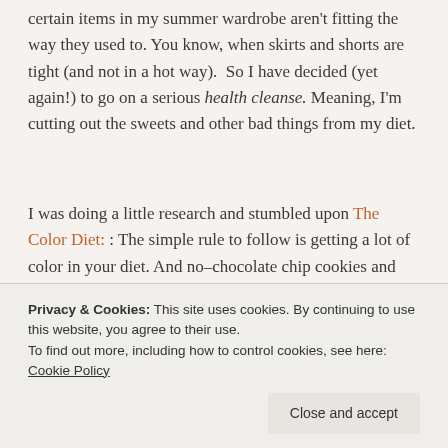certain items in my summer wardrobe aren't fitting the way they used to. You know, when skirts and shorts are tight (and not in a hot way). So I have decided (yet again!) to go on a serious health cleanse. Meaning, I'm cutting out the sweets and other bad things from my diet.
I was doing a little research and stumbled upon The Color Diet: The simple rule to follow is getting a lot of color in your diet. And no–chocolate chip cookies and bacon aren't valid colors. Neither are doughnuts.
Privacy & Cookies: This site uses cookies. By continuing to use this website, you agree to their use. To find out more, including how to control cookies, see here: Cookie Policy
Close and accept